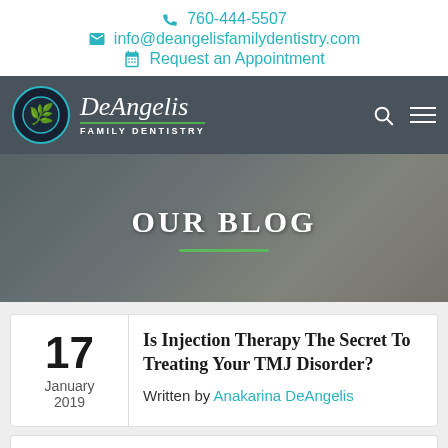760-444-5507 | info@deangelisfamilydentistry.com | Request an Appointment
[Figure (logo): DeAngelis Family Dentistry logo with circular tree emblem on dark header bar with search and menu icons]
[Figure (photo): Hero banner showing OUR BLOG heading over a dark-tinted photo of a woman in a white coat at a dental office desk]
17 January 2019
Is Injection Therapy The Secret To Treating Your TMJ Disorder?
Written by Anakarina DeAngelis
TMJ or the Temporomandibular Joint, is a li...